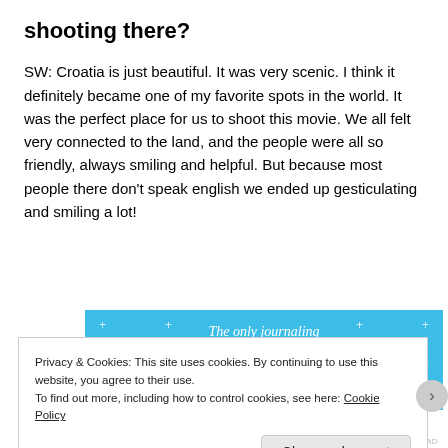shooting there?
SW: Croatia is just beautiful. It was very scenic. I think it definitely became one of my favorite spots in the world. It was the perfect place for us to shoot this movie. We all felt very connected to the land, and the people were all so friendly, always smiling and helpful. But because most people there don't speak english we ended up gesticulating and smiling a lot!
[Figure (other): Advertisement banner for a journaling app with blue background, text 'The only journaling app you'll ever need.' and a dark blue 'Get the app' button]
Privacy & Cookies: This site uses cookies. By continuing to use this website, you agree to their use.
To find out more, including how to control cookies, see here: Cookie Policy
Close and accept
AIRPORT-TIME.AD